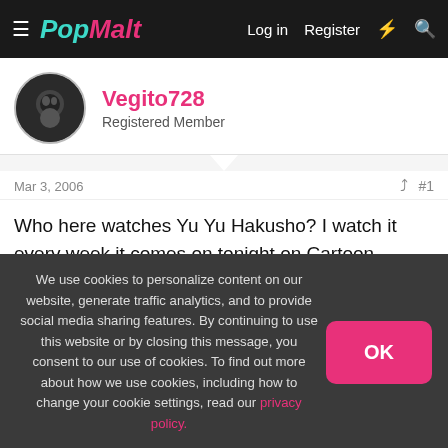PopMalt — Log in  Register
Vegito728
Registered Member
Mar 3, 2006  #1
Who here watches Yu Yu Hakusho? I watch it every week it comes on tonight on Cartoon Network at 4:30(Yes I stay up that late to watch it). I really like the show my 2 favorites are Hiei and Murkro. The series is at the end so if you haven't ever seen I suggest not watching it.
We use cookies to personalize content on our website, generate traffic analytics, and to provide social media sharing features. By continuing to use this website or by closing this message, you consent to our use of cookies. To find out more about how we use cookies, including how to change your cookie settings, read our privacy policy.